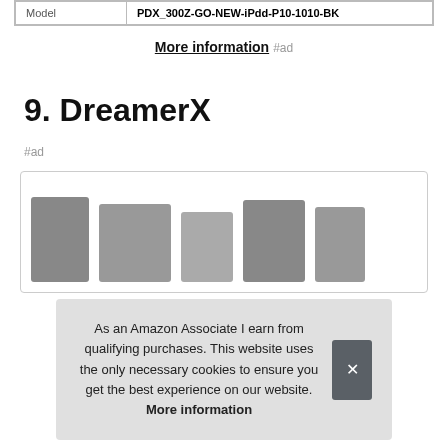| Model | PDX_300Z-GO-NEW-iPdd-P10-1010-BK |
| --- | --- |
More information #ad
9. DreamerX
#ad
[Figure (photo): Product image showing DreamerX item, partially visible behind cookie consent overlay]
As an Amazon Associate I earn from qualifying purchases. This website uses the only necessary cookies to ensure you get the best experience on our website. More information